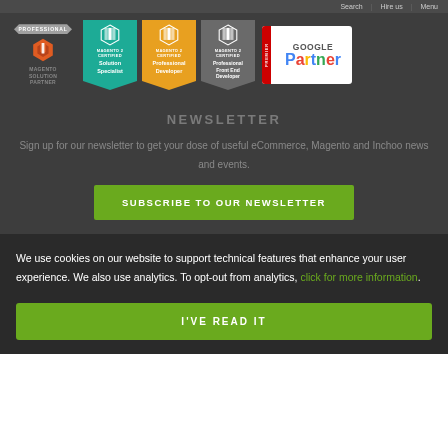Search | Hire us | Menu
[Figure (logo): Row of certification badges: Magento Solution Partner (Professional), Magento 2 Certified Solution Specialist (teal), Magento 2 Certified Professional Developer (orange), Magento 2 Certified Professional Front End Developer (gray), Google Premier Partner]
NEWSLETTER
Sign up for our newsletter to get your dose of useful eCommerce, Magento and Inchoo news and events.
SUBSCRIBE TO OUR NEWSLETTER
We use cookies on our website to support technical features that enhance your user experience. We also use analytics. To opt-out from analytics, click for more information.
I'VE READ IT